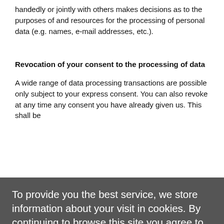handedly or jointly with others makes decisions as to the purposes of and resources for the processing of personal data (e.g. names, e-mail addresses, etc.).
Revocation of your consent to the processing of data
A wide range of data processing transactions are possible only subject to your express consent. You can also revoke at any time any consent you have already given us. This shall be without prejudice to the lawfulness of any data collection that
...s; ...S OF ...AT ...NAL ...D ON ...N ...LOG
[Figure (screenshot): Cookie consent banner overlay with dark background. Text reads: 'To provide you the best service, we store information about your visit in cookies. By continuing to browse this site you agree to our use of cookies. You can disable the use of cookies at any time via the settings in your browser - Detailed information here ›'. Below is a green 'Got it' button.]
AFFECTED PERSONAL DATA, UNLESS WE ARE IN A POSITION